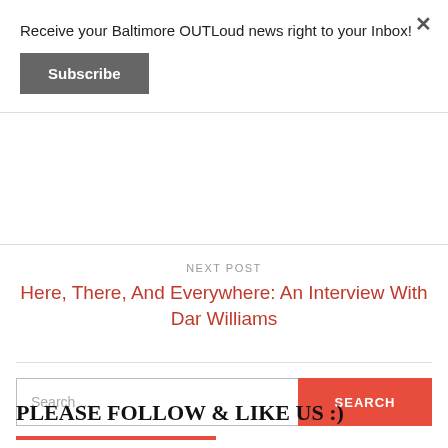Receive your Baltimore OUTLoud news right to your Inbox!
Subscribe
NEXT POST
Here, There, And Everywhere: An Interview With Dar Williams
Search ...
SEARCH
PLEASE FOLLOW & LIKE US :)